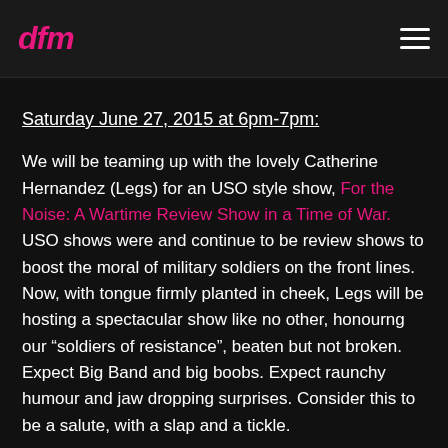dfm
Saturday June 27, 2015 at 6pm-7pm:
We will be teaming up with the lovely Catherine Hernandez (Legs) for an USO style show, For the Noise: A Wartime Review Show in a Time of War. USO shows were and continue to be review shows to boost the moral of military soldiers on the front lines. Now, with tongue firmly planted in cheek, Legs will be hosting a spectacular show like no other, honourng our “soldiers of resistance”, beaten but not broken. Expect Big Band and big boobs. Expect raunchy humour and jaw dropping surprises. Consider this to be a salute, with a slap and a tickle.
Sunday, June 28, 2015 at 1pm-1:30pm: